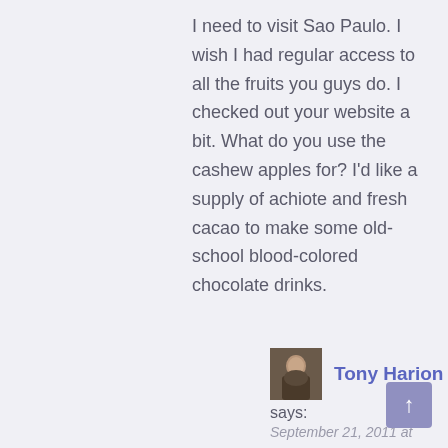I need to visit Sao Paulo. I wish I had regular access to all the fruits you guys do. I checked out your website a bit. What do you use the cashew apples for? I'd like a supply of achiote and fresh cacao to make some old-school blood-colored chocolate drinks.
[Figure (photo): Small avatar photo of Tony Harion, a man in dark clothing]
Tony Harion
says:
September 21, 2011 at